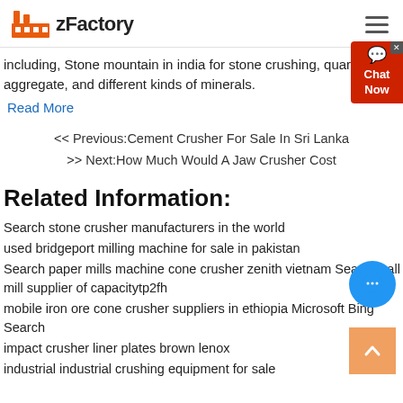zFactory
including, Stone mountain in india for stone crushing, quarry, aggregate, and different kinds of minerals.
Read More
<< Previous:Cement Crusher For Sale In Sri Lanka
>> Next:How Much Would A Jaw Crusher Cost
Related Information:
Search stone crusher manufacturers in the world
used bridgeport milling machine for sale in pakistan
Search paper mills machine cone crusher zenith vietnam Search ball mill supplier of capacitytp2fh
mobile iron ore cone crusher suppliers in ethiopia Microsoft Bing Search
impact crusher liner plates brown lenox
industrial industrial crushing equipment for sale